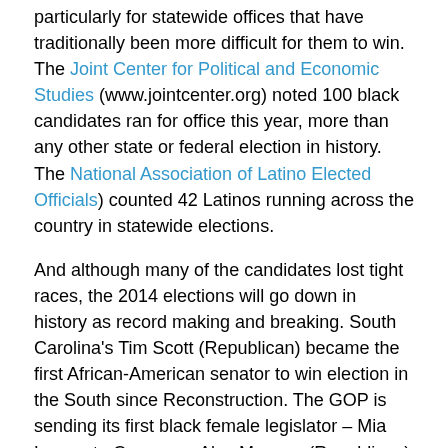particularly for statewide offices that have traditionally been more difficult for them to win. The Joint Center for Political and Economic Studies (www.jointcenter.org) noted 100 black candidates ran for office this year, more than any other state or federal election in history. The National Association of Latino Elected Officials) counted 42 Latinos running across the country in statewide elections.
And although many of the candidates lost tight races, the 2014 elections will go down in history as record making and breaking. South Carolina's Tim Scott (Republican) became the first African-American senator to win election in the South since Reconstruction. The GOP is sending its first black female legislator – Mia Love – to Congress. Alex Mooney (Republican) is the first Latino Member of Congress from Virginia. And Alma Adam (North Carolina, Democrat) becomes the 100th women currently serving in Congress.